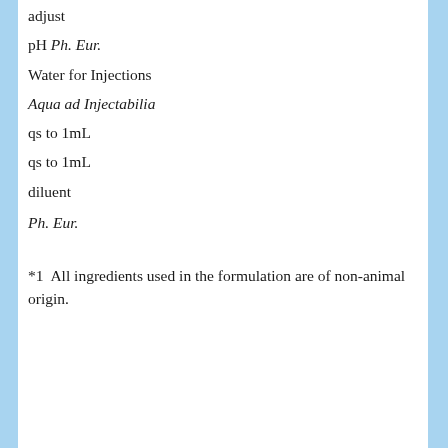adjust
pH Ph. Eur.
Water for Injections
Aqua ad Injectabilia
qs to 1mL
qs to 1mL
diluent
Ph. Eur.
*1  All ingredients used in the formulation are of non-animal origin.